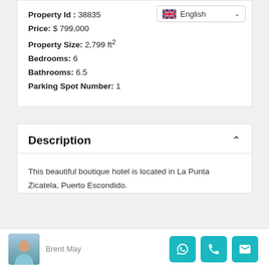Property Id : 38835
Price: $ 799,000
Property Size: 2,799 ft²
Bedrooms: 6
Bathrooms: 6.5
Parking Spot Number: 1
Description
This beautiful boutique hotel is located in La Punta Zicatela, Puerto Escondido.
Brent May